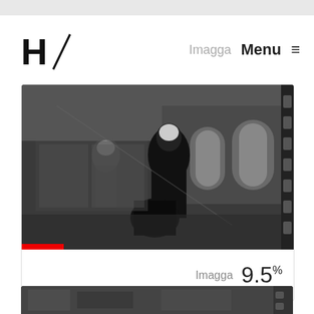H/ Imagga Menu ≡
[Figure (photo): Black and white vintage photograph showing figures in dark robes/cloaks on a street with brick arches in the background. Film negative strip style with sprocket holes visible on the right edge. Red strip at bottom left.]
Imagga  9.5%
[Figure (photo): Partial view of another black and white photograph at the bottom of the page.]